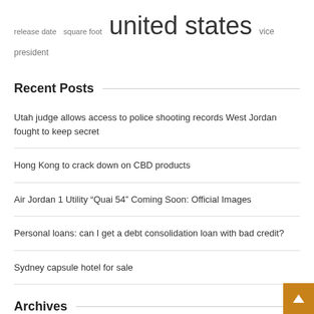release date   square foot   united states   vice president
Recent Posts
Utah judge allows access to police shooting records West Jordan fought to keep secret
Hong Kong to crack down on CBD products
Air Jordan 1 Utility “Quai 54” Coming Soon: Official Images
Personal loans: can I get a debt consolidation loan with bad credit?
Sydney capsule hotel for sale
Archives